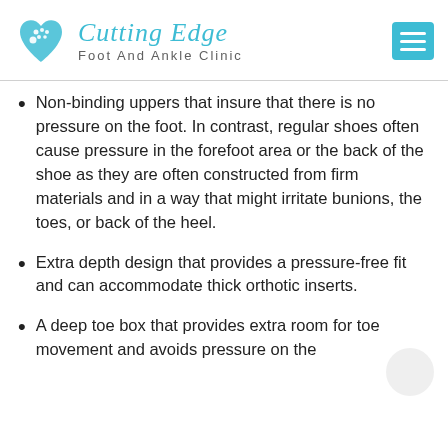[Figure (logo): Cutting Edge Foot And Ankle Clinic logo with blue foot/heart icon and teal script text]
Non-binding uppers that insure that there is no pressure on the foot. In contrast, regular shoes often cause pressure in the forefoot area or the back of the shoe as they are often constructed from firm materials and in a way that might irritate bunions, the toes, or back of the heel.
Extra depth design that provides a pressure-free fit and can accommodate thick orthotic inserts.
A deep toe box that provides extra room for toe movement and avoids pressure on the